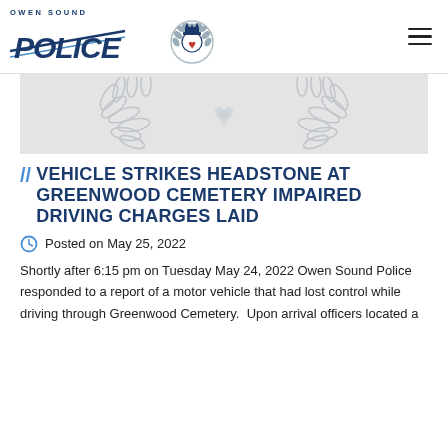Owen Sound Police
[Figure (illustration): Owen Sound Police banner image showing a decorative laurel wreath emblem on a light gray background]
// VEHICLE STRIKES HEADSTONE AT GREENWOOD CEMETERY IMPAIRED DRIVING CHARGES LAID
Posted on May 25, 2022
Shortly after 6:15 pm on Tuesday May 24, 2022 Owen Sound Police responded to a report of a motor vehicle that had lost control while driving through Greenwood Cemetery.  Upon arrival officers located a